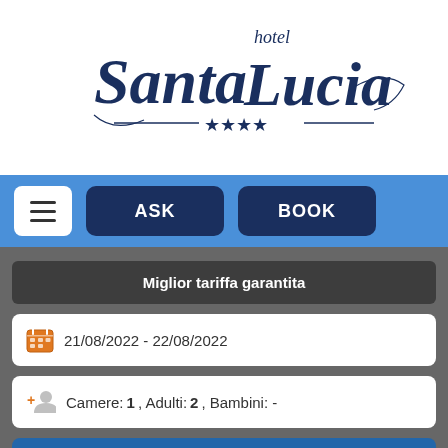[Figure (logo): Hotel Santa Lucia 4-star logo in dark navy script with decorative flourishes and four star rating]
≡  ASK  BOOK
Miglior tariffa garantita
21/08/2022 - 22/08/2022
Camere: 1, Adulti: 2, Bambini: -
PRENOTA
[Figure (photo): Hotel exterior building photo with yellow-orange walls, visible at bottom of page]
🇬🇧 English